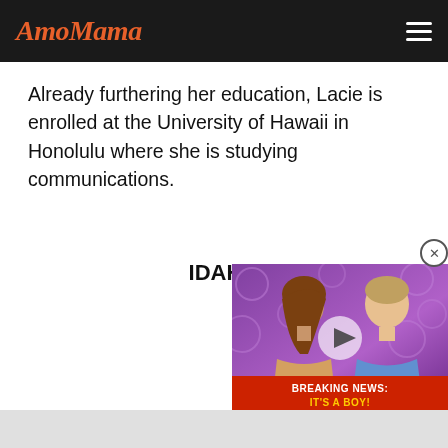AmoMama
Already furthering her education, Lacie is enrolled at the University of Hawaii in Honolulu where she is studying communications.
IDAHO
[Figure (screenshot): Video thumbnail overlay showing two people (a woman and a man) against a purple/pink background with emoji patterns, with a play button in the center and a red breaking news banner reading 'BREAKING NEWS: IT'S A BOY!' A circular close button with an X appears at the top-right corner of the video overlay.]